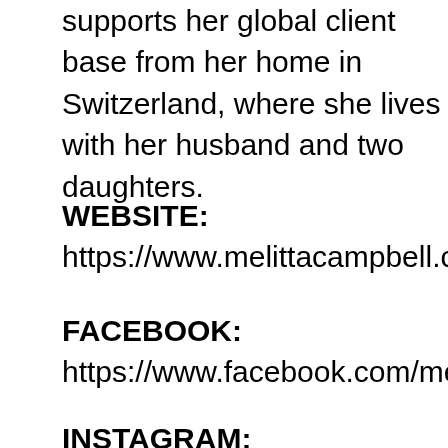supports her global client base from her home in Switzerland, where she lives with her husband and two daughters.
WEBSITE:
https://www.melittacampbell.com
FACEBOOK:
https://www.facebook.com/melittacamp
INSTAGRAM:
https://www.instagram.com/melittac